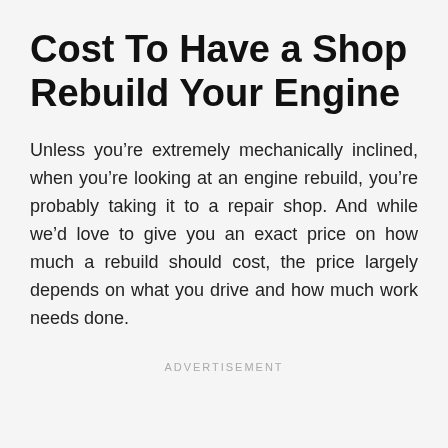Cost To Have a Shop Rebuild Your Engine
Unless you’re extremely mechanically inclined, when you’re looking at an engine rebuild, you’re probably taking it to a repair shop. And while we’d love to give you an exact price on how much a rebuild should cost, the price largely depends on what you drive and how much work needs done.
ADVERTISEMENT